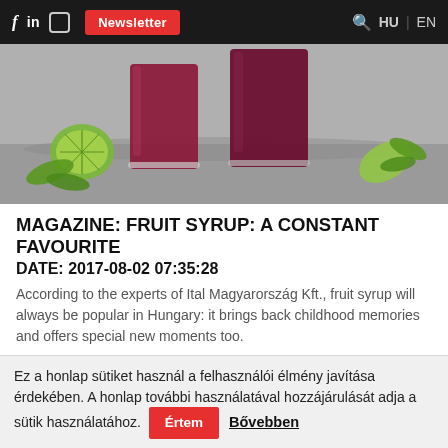f in [instagram] Newsletter HU | EN
[Figure (photo): Two glasses of dark red/purple fruit syrup drink on a gray surface, with lime/lemon slices and green leaves as garnish.]
MAGAZINE: FRUIT SYRUP: A CONSTANT FAVOURITE
DATE: 2017-08-02 07:35:28
According to the experts of Ital Magyarország Kft., fruit syrup will always be popular in Hungary: it brings back childhood memories and offers special new moments too.
Ez a honlap sütiket használ a felhasználói élmény javítása érdekében. A honlap további használatával hozzájárulását adja a sütik használatához. Értem Bővebben